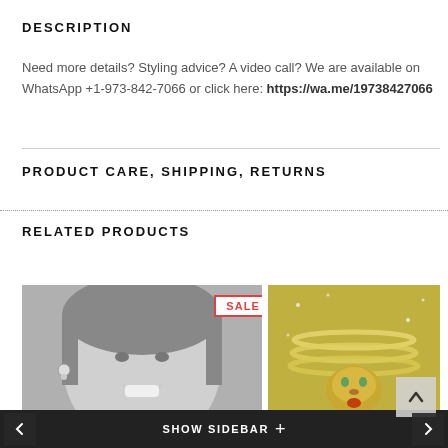DESCRIPTION
Need more details? Styling advice? A video call? We are available on WhatsApp +1-973-842-7066 or click here: https://wa.me/19738427066
PRODUCT CARE, SHIPPING, RETURNS
RELATED PRODUCTS
[Figure (photo): Black and white photo of a smiling woman wearing stud earrings, with a SALE badge overlay]
[Figure (photo): Close-up photo of a decorative tiger-head necklace with pearls and gemstones on a glittery background]